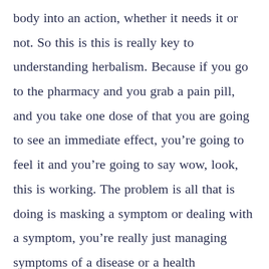body into an action, whether it needs it or not. So this is this is really key to understanding herbalism. Because if you go to the pharmacy and you grab a pain pill, and you take one dose of that you are going to see an immediate effect, you're going to feel it and you're going to say wow, look, this is working. The problem is all that is doing is masking a symptom or dealing with a symptom, you're really just managing symptoms of a disease or a health